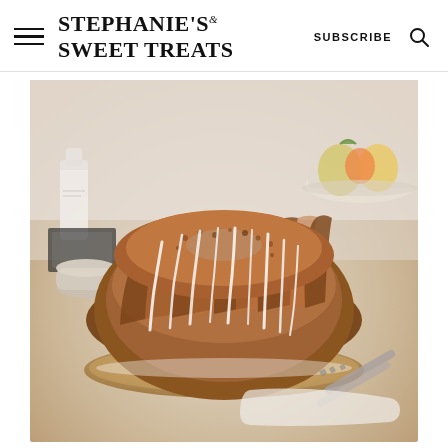STEPHANIE'S SWEET TREATS | SUBSCRIBE
[Figure (photo): A glazed bundt cake with white icing drizzle on a round wooden plate/board, photographed on a light beige surface. Background includes a milk bottle, ceramic mug, bowl of fruit (apples/pears), and a serving spatula resting beside the plate on a white linen napkin.]